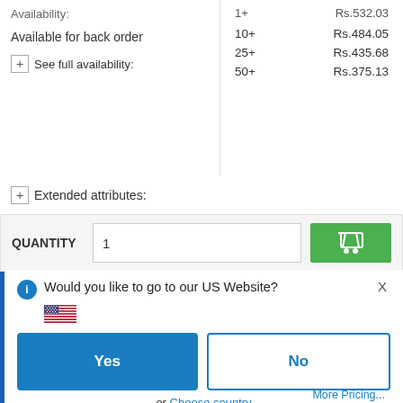Availability:
| Qty | Price |
| --- | --- |
| 1+ | Rs.532.03 |
| 10+ | Rs.484.05 |
| 25+ | Rs.435.68 |
| 50+ | Rs.375.13 |
Available for back order
+ See full availability:
+ Extended attributes:
QUANTITY
Would you like to go to our US Website?
[Figure (illustration): US flag emoji]
Yes
No
or Choose country
Remember this choice and automatically redirect me in the future
More Pricing...